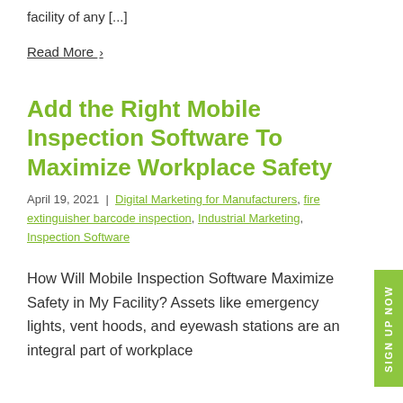facility of any [...]
Read More >
Add the Right Mobile Inspection Software To Maximize Workplace Safety
April 19, 2021  |  Digital Marketing for Manufacturers, fire extinguisher barcode inspection, Industrial Marketing, Inspection Software
How Will Mobile Inspection Software Maximize Safety in My Facility? Assets like emergency lights, vent hoods, and eyewash stations are an integral part of workplace